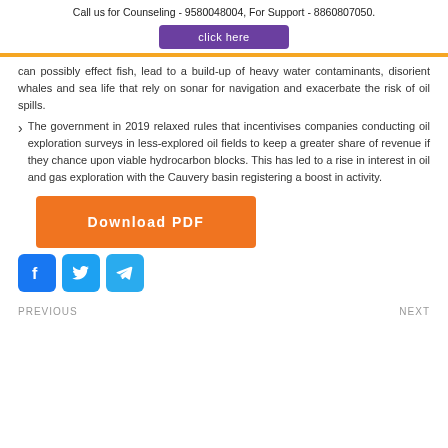Call us for Counseling - 9580048004, For Support - 8860807050.
click here
can possibly effect fish, lead to a build-up of heavy water contaminants, disorient whales and sea life that rely on sonar for navigation and exacerbate the risk of oil spills.
The government in 2019 relaxed rules that incentivises companies conducting oil exploration surveys in less-explored oil fields to keep a greater share of revenue if they chance upon viable hydrocarbon blocks. This has led to a rise in interest in oil and gas exploration with the Cauvery basin registering a boost in activity.
Download PDF
[Figure (other): Social media icons: Facebook, Twitter, Telegram]
PREVIOUS
NEXT